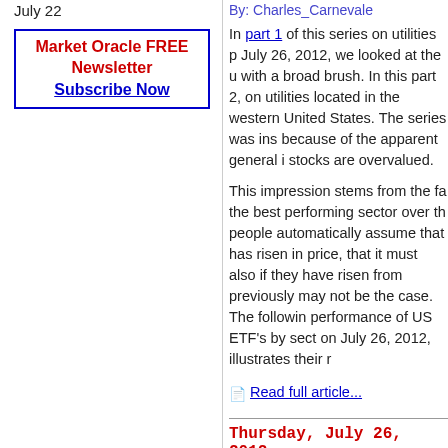July 22
Market Oracle FREE Newsletter Subscribe Now
By: Charles_Carnevale
In part 1 of this series on utilities p July 26, 2012, we looked at the u with a broad brush. In this part 2, on utilities located in the western United States. The series was ins because of the apparent general i stocks are overvalued.
This impression stems from the fa the best performing sector over th people automatically assume that has risen in price, that it must also if they have risen from previously may not be the case. The followin performance of US ETF's by sect on July 26, 2012, illustrates their r
Read full article...
Thursday, July 26, 2012